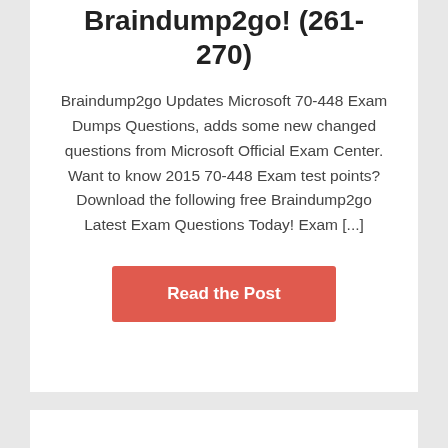Braindump2go! (261-270)
Braindump2go Updates Microsoft 70-448 Exam Dumps Questions, adds some new changed questions from Microsoft Official Exam Center. Want to know 2015 70-448 Exam test points? Download the following free Braindump2go Latest Exam Questions Today! Exam [...]
Read the Post
POSTED ON AUGUST 6, 2015 / BY MAVIS
Microsoft 70-448 Exam